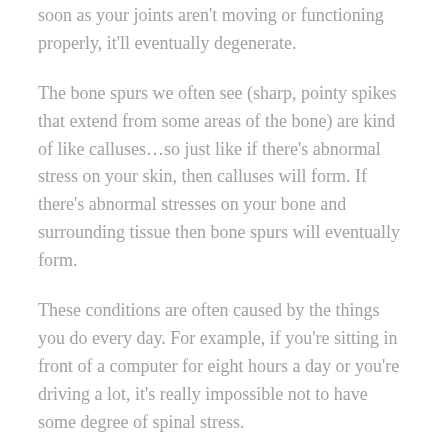soon as your joints aren't moving or functioning properly, it'll eventually degenerate.
The bone spurs we often see (sharp, pointy spikes that extend from some areas of the bone) are kind of like calluses…so just like if there's abnormal stress on your skin, then calluses will form.  If there's abnormal stresses on your bone and surrounding tissue then bone spurs will eventually form.
These conditions are often caused by the things you do every day.  For example, if you're sitting in front of a computer for eight hours a day or you're driving a lot, it's really impossible not to have some degree of spinal stress.
When we do the adjustment, we identify the areas where the joints are malfunctioning, and what we want to do is unlock the joint and create motion in the joint.  When you're at home what you want to do is keep that